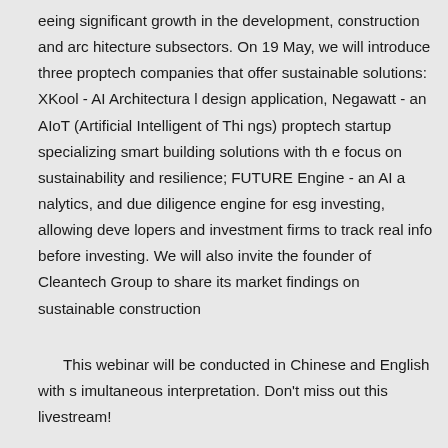eeing significant growth in the development, construction and architecture subsectors. On 19 May, we will introduce three proptech companies that offer sustainable solutions: XKool - AI Architectural design application, Negawatt - an AIoT (Artificial Intelligent of Things) proptech startup specializing smart building solutions with the focus on sustainability and resilience; FUTURE Engine - an AI analytics, and due diligence engine for esg investing, allowing developers and investment firms to track real info before investing. We will also invite the founder of Cleantech Group to share its market findings on sustainable construction
This webinar will be conducted in Chinese and English with simultaneous interpretation. Don't miss out this livestream!